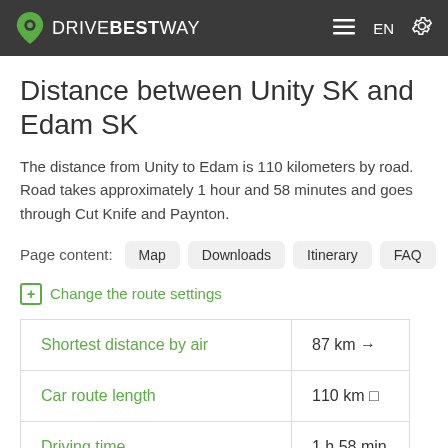DRIVEBESTWAY — EN
Distance between Unity SK and Edam SK
The distance from Unity to Edam is 110 kilometers by road. Road takes approximately 1 hour and 58 minutes and goes through Cut Knife and Paynton.
Page content: Map  Downloads  Itinerary  FAQ
Change the route settings
|  |  |
| --- | --- |
| Shortest distance by air | 87 km → |
| Car route length | 110 km □ |
| Driving time | 1 h 58 min |
| Fuel ... | ... 7 h ... |